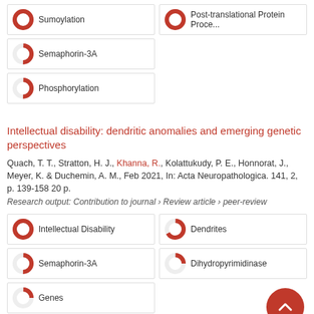Sumoylation (100%)
Post-translational Protein Processing (100%)
Semaphorin-3A (50%)
Phosphorylation (50%)
Intellectual disability: dendritic anomalies and emerging genetic perspectives
Quach, T. T., Stratton, H. J., Khanna, R., Kolattukudy, P. E., Honnorat, J., Meyer, K. & Duchemin, A. M., Feb 2021, In: Acta Neuropathologica. 141, 2, p. 139-158 20 p.
Research output: Contribution to journal › Review article › peer-review
Intellectual Disability (100%)
Dendrites (67%)
Semaphorin-3A (50%)
Dihydropyrimidinase (25%)
Genes (25%)
Mining the Nav 1.7 interactome: Opportunities for chronic pain therapeutics